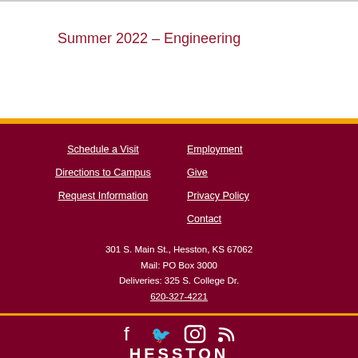Summer 2022 – Engineering
Schedule a Visit
Directions to Campus
Request Information
Employment
Give
Privacy Policy
Contact
301 S. Main St., Hesston, KS 67062
Mail: PO Box 3000
Deliveries: 325 S. College Dr.
620-327-4221
[Figure (infographic): Social media icons: Facebook, Twitter, Instagram, RSS feed]
HESSTON